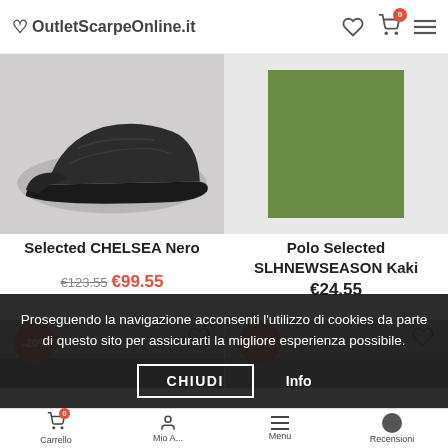OutletScarpeOnline.it
[Figure (photo): Close-up of black chelsea boot sole against grey background]
Selected CHELSEA Nero
€123.55 €99.55
[Figure (photo): Dark olive/khaki green polo shirt folded square]
Polo Selected SLHNEWSEASON Kaki
€24.55
[Figure (photo): Second row product images partially visible with -20% discount badges]
Proseguendo la navigazione acconsenti l'utilizzo di cookies da parte di questo sito per assicurarti la migliore esperienza possibile.
CHIUDI
Info
Carrello  Mio A...  Menu  Recensioni